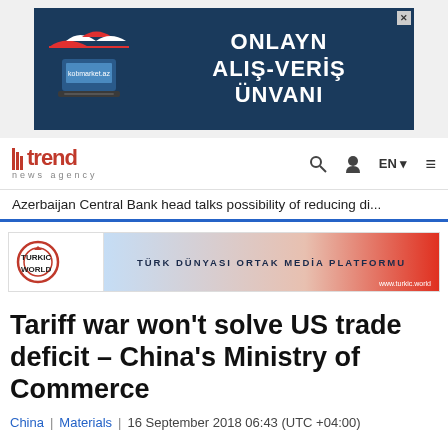[Figure (illustration): Advertisement banner for kobmarket.az showing a shop icon with red/white awning on a dark blue background with Azerbaijani text: ONLAYN ALIŞ-VERİŞ ÜNVANI]
trend news agency | Search | User | EN | Menu
Azerbaijan Central Bank head talks possibility of reducing di...
[Figure (illustration): Turkic World banner: TÜRK DÜNYASI ORTAK MEDİA PLATFORMU with red gradient and www.turkic.world URL]
Tariff war won't solve US trade deficit – China's Ministry of Commerce
China | Materials | 16 September 2018 06:43 (UTC +04:00)